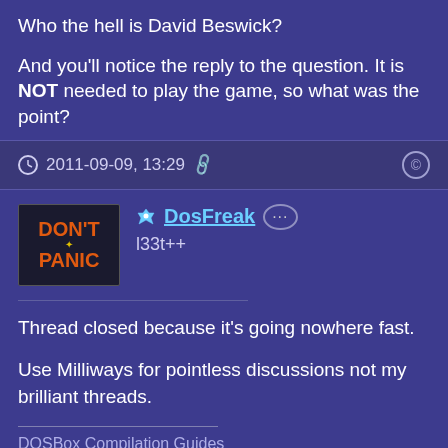Who the hell is David Beswick?
And you'll notice the reply to the question. It is NOT needed to play the game, so what was the point?
2011-09-09, 13:29
DosFreak l33t++
Thread closed because it's going nowhere fast.

Use Milliways for pointless discussions not my brilliant threads.
DOSBox Compilation Guides
DosBox Feature Request Thread
PC Game Compatibility List
How To Ask Questions The Smart Way